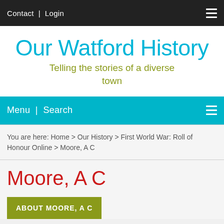Contact | Login
Our Watford History
Telling the stories of a diverse town
Menu | Search
You are here: Home > Our History > First World War: Roll of Honour Online > Moore, A C
Moore, A C
ABOUT MOORE, A C